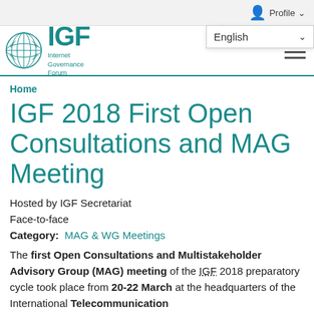Profile
English
[Figure (logo): IGF Internet Governance Forum logo with UN emblem]
Home
IGF 2018 First Open Consultations and MAG Meeting
Hosted by IGF Secretariat
Face-to-face
Category: MAG & WG Meetings
The first Open Consultations and Multistakeholder Advisory Group (MAG) meeting of the IGF 2018 preparatory cycle took place from 20-22 March at the headquarters of the International Telecommunication